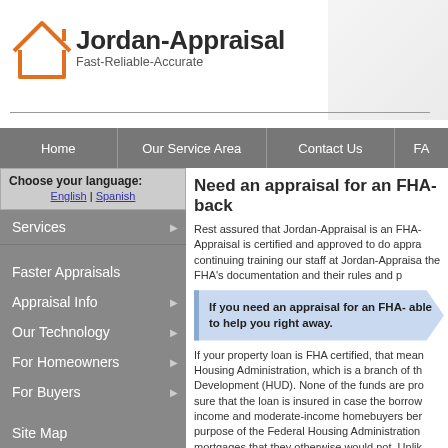Jordan-Appraisal Fast-Reliable-Accurate
Home | Our Service Area | Contact Us | FA
Choose your language: English | Spanish
Services
Faster Appraisals
Appraisal Info
Our Technology
For Homeowners
For Buyers
Site Map
News
Need an appraisal for an FHA-back
Rest assured that Jordan-Appraisal is an FHA- Appraisal is certified and approved to do appra continuing training our staff at Jordan-Appraisa the FHA's documentation and their rules and p
If you need an appraisal for an FHA- able to help you right away.
If your property loan is FHA certified, that mean Housing Administration, which is a branch of th Development (HUD). None of the funds are pro sure that the loan is insured in case the borrow income and moderate-income homebuyers ber purpose of the Federal Housing Administration mortgages that they otherwise would not. Unlik